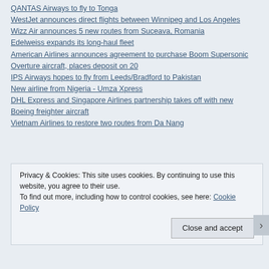QANTAS Airways to fly to Tonga
WestJet announces direct flights between Winnipeg and Los Angeles
Wizz Air announces 5 new routes from Suceava, Romania
Edelweiss expands its long-haul fleet
American Airlines announces agreement to purchase Boom Supersonic Overture aircraft, places deposit on 20
IPS Airways hopes to fly from Leeds/Bradford to Pakistan
New airline from Nigeria - Umza Xpress
DHL Express and Singapore Airlines partnership takes off with new Boeing freighter aircraft
Vietnam Airlines to restore two routes from Da Nang
Privacy & Cookies: This site uses cookies. By continuing to use this website, you agree to their use.
To find out more, including how to control cookies, see here: Cookie Policy
Close and accept